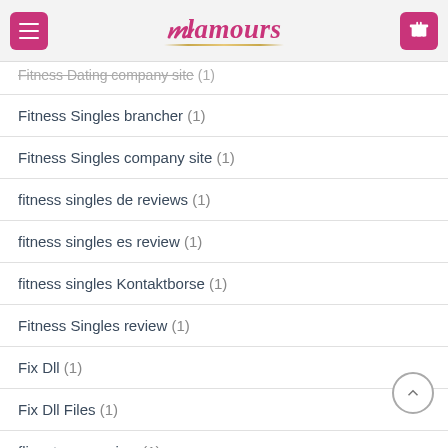Glamours (navigation header with menu and cart buttons)
Fitness Dating company site (1)
Fitness Singles brancher (1)
Fitness Singles company site (1)
fitness singles de reviews (1)
fitness singles es review (1)
fitness singles Kontaktborse (1)
Fitness Singles review (1)
Fix Dll (1)
Fix Dll Files (1)
flingster es review (1)
Flirt4free site de rencontre (1)